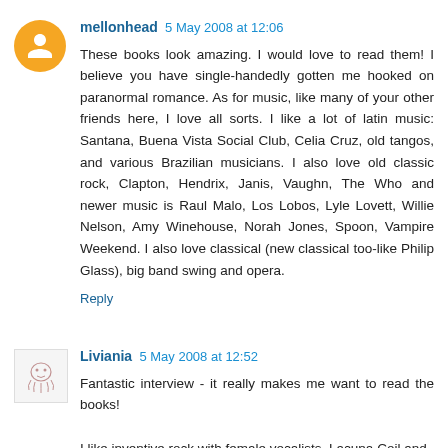mellonhead 5 May 2008 at 12:06
These books look amazing. I would love to read them! I believe you have single-handedly gotten me hooked on paranormal romance. As for music, like many of your other friends here, I love all sorts. I like a lot of latin music: Santana, Buena Vista Social Club, Celia Cruz, old tangos, and various Brazilian musicians. I also love old classic rock, Clapton, Hendrix, Janis, Vaughn, The Who and newer music is Raul Malo, Los Lobos, Lyle Lovett, Willie Nelson, Amy Winehouse, Norah Jones, Spoon, Vampire Weekend. I also love classical (new classical too-like Philip Glass), big band swing and opera.
Reply
Liviania 5 May 2008 at 12:52
Fantastic interview - it really makes me want to read the books!
I like inventive rock with female vocalists, Lacuna Coil and